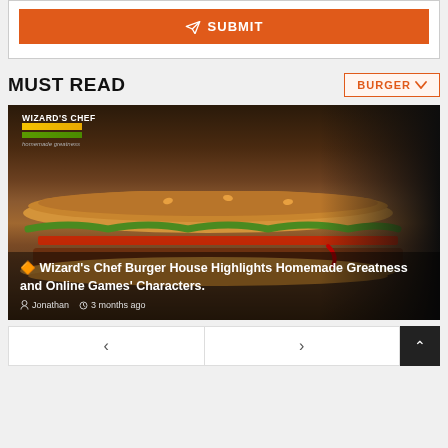[Figure (other): Orange Submit button with paper plane icon]
MUST READ
[Figure (other): BURGER dropdown button]
[Figure (photo): Featured article card showing Wizard's Chef Burger House with a burger image and logo overlay]
🔶 Wizard's Chef Burger House Highlights Homemade Greatness and Online Games' Characters.
Jonathan   3 months ago
[Figure (other): Navigation previous and next buttons, plus scroll-to-top button]